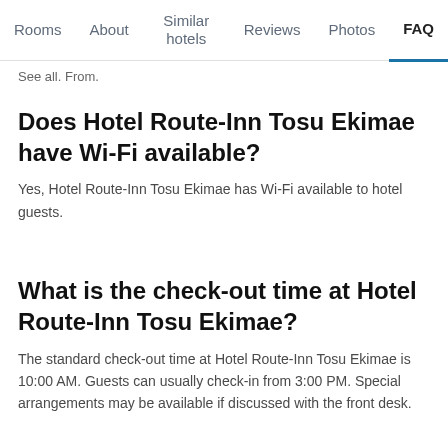Rooms | About | Similar hotels | Reviews | Photos | FAQ
See all. From.
Does Hotel Route-Inn Tosu Ekimae have Wi-Fi available?
Yes, Hotel Route-Inn Tosu Ekimae has Wi-Fi available to hotel guests.
What is the check-out time at Hotel Route-Inn Tosu Ekimae?
The standard check-out time at Hotel Route-Inn Tosu Ekimae is 10:00 AM. Guests can usually check-in from 3:00 PM. Special arrangements may be available if discussed with the front desk.
How much does it cost to stay at Hotel Route-Inn Tosu Ekimae, Tosu?